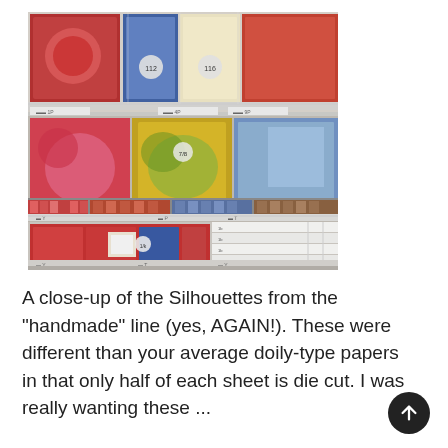[Figure (photo): A close-up photograph of store shelves displaying Silhouettes from the 'handmade' line — colorful patterned paper products and boxed items arranged on wire retail shelving units.]
A close-up of the Silhouettes from the "handmade" line (yes, AGAIN!). These were different than your average doily-type papers in that only half of each sheet is die cut. I was really wanting these ...